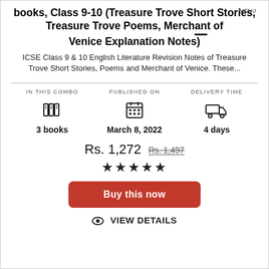books, Class 9-10 (Treasure Trove Short Stories, Treasure Trove Poems, Merchant of Venice Explanation Notes)
ICSE Class 9 & 10 English Literature Revision Notes of Treasure Trove Short Stories, Poems and Merchant of Venice. These...
IN THIS COMBO: 3 books | PUBLISHED ON: March 8, 2022 | DELIVERY TIME: 4 days
Rs. 1,272  Rs. 1,497
★★★★★
Buy this now
VIEW DETAILS